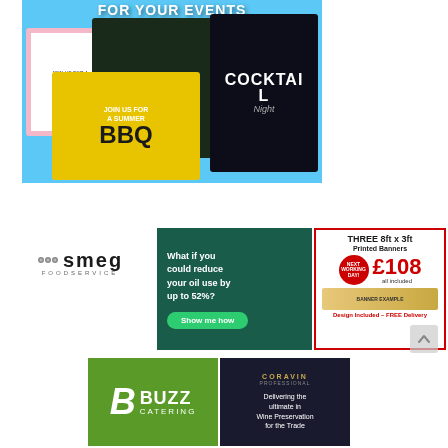[Figure (illustration): Promotional advertisement for event flyers showing cocktail night, summer BBQ, and party invitations on a blue background with text 'FOR YOUR EVENTS']
[Figure (logo): Smeg Foodservice logo in black on white background]
[Figure (illustration): Green ad asking 'What if you could reduce your oil use by up to 52%?' with a 'Show me how' button]
[Figure (illustration): Advertisement for THREE 8ft x 3ft Printed Banners, Next Working Day, £108 all included, Design Included - FREE Delivery]
[Figure (logo): Buzz Catering logo - green background with white stylized 'B' and BUZZ CATERING text]
[Figure (illustration): Coravin wine preservation advertisement on dark background - Delivering the ultimate in Wine Preservation for the Trade]